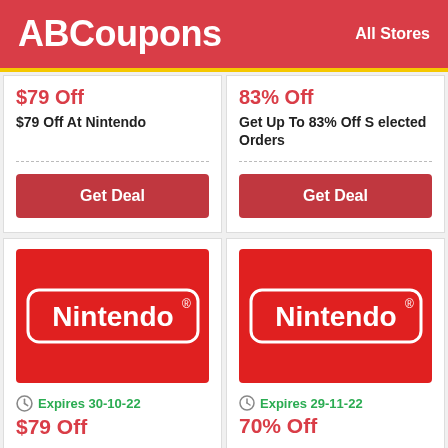ABCoupons  All Stores
$79 Off
$79 Off At Nintendo
Get Deal
83% Off
Get Up To 83% Off Selected Orders
Get Deal
[Figure (logo): Nintendo logo on red background]
Expires 30-10-22
$79 Off
[Figure (logo): Nintendo logo on red background]
Expires 29-11-22
70% Off